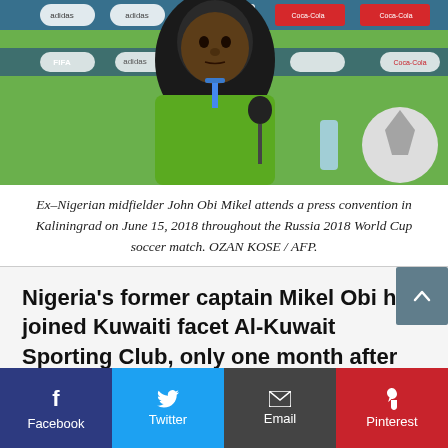[Figure (photo): Ex-Nigerian midfielder John Obi Mikel at a press conference with FIFA/World Cup branding backdrop, wearing green jersey with a microphone in front of him]
Ex-Nigerian midfielder John Obi Mikel attends a press convention in Kaliningrad on June 15, 2018 throughout the Russia 2018 World Cup soccer match. OZAN KOSE / AFP.
Nigeria's former captain Mikel Obi has joined Kuwaiti facet Al-Kuwait Sporting Club, only one month after penning a contract extension with Championship side Stoke City